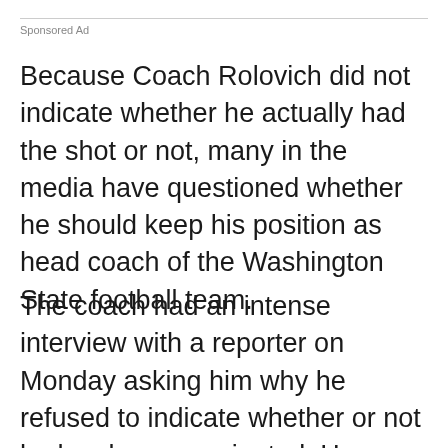Sponsored Ad
Because Coach Rolovich did not indicate whether he actually had the shot or not, many in the media have questioned whether he should keep his position as head coach of the Washington State football team.
The coach had an intense interview with a reporter on Monday asking him why he refused to indicate whether or not he has been vaccinated. He responded, “Yeah, I’m not going to talk about that Chris. I understand what you guys are trying to get